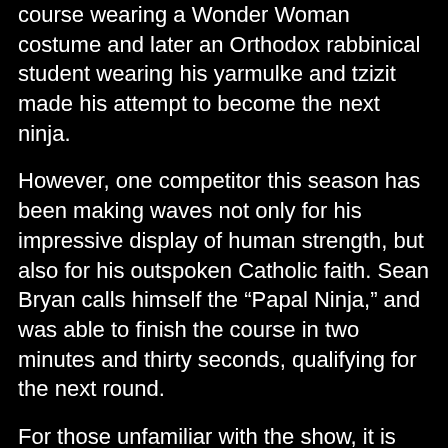course wearing a Wonder Woman costume and later an Orthodox rabbinical student wearing his yarmulke and tzizit made his attempt to become the next ninja.
However, one competitor this season has been making waves not only for his impressive display of human strength, but also for his outspoken Catholic faith. Sean Bryan calls himself the “Papal Ninja,” and was able to finish the course in two minutes and thirty seconds, qualifying for the next round.
For those unfamiliar with the show, it is described as an “action-packed series [that] follows competitors as they tackle a series of challenging obstacle courses in both city qualifying and city finals rounds across the country. Those that successfully complete the finals course in their designated region move on to the national finals round in Las Vegas, where they face a stunning four-stage course modeled after the famed Mt. Midoriyama course in Japan. The winner takes home a grand prize of $1 million.”
During the competition, Bryan wore a bright yellow t-shirt